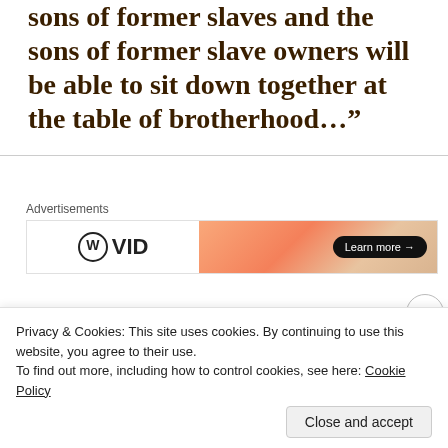sons of former slaves and the sons of former slave owners will be able to sit down together at the table of brotherhood…”
[Figure (other): Advertisement banner with WordPress-style logo (circle W) and 'VID' text on left, orange gradient background on right with 'Learn more →' button]
In 1994, President Bill Clinton signed into law a bill that made Martin Luther King, Jr. Day a National Day of Service.  Organizations and volunteers now
Privacy & Cookies: This site uses cookies. By continuing to use this website, you agree to their use.
To find out more, including how to control cookies, see here: Cookie Policy
Close and accept